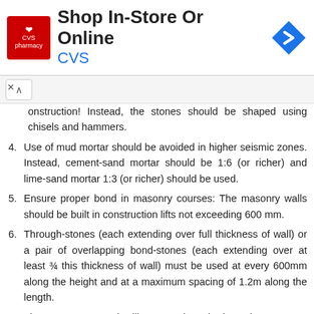[Figure (other): CVS Pharmacy advertisement banner: 'Shop In-Store Or Online' with CVS logo and navigation icon]
construction! Instead, the stones should be shaped using chisels and hammers.
4. Use of mud mortar should be avoided in higher seismic zones. Instead, cement-sand mortar should be 1:6 (or richer) and lime-sand mortar 1:3 (or richer) should be used.
5. Ensure proper bond in masonry courses: The masonry walls should be built in construction lifts not exceeding 600 mm.
6. Through-stones (each extending over full thickness of wall) or a pair of overlapping bond-stones (each extending over at least ¾ this thickness of wall) must be used at every 600mm along the height and at a maximum spacing of 1.2m along the length.
7. The stone masonry dwellings must have horizontal